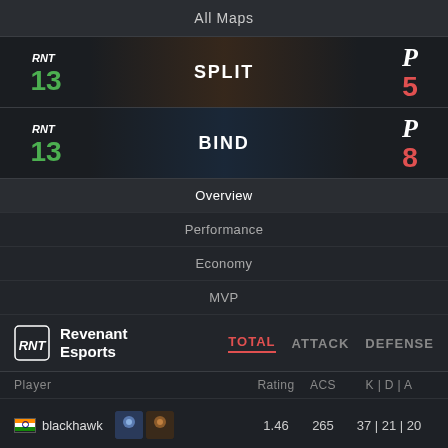All Maps
[Figure (infographic): SPLIT map result: Revenant Esports 13 vs P team 5]
[Figure (infographic): BIND map result: Revenant Esports 13 vs P team 8]
Overview
Performance
Economy
MVP
Revenant Esports TOTAL ATTACK DEFENSE
| Player |  | Rating | ACS | K|D|A |
| --- | --- | --- | --- | --- |
| blackhawk |  | 1.46 | 265 | 37|21|20 |
| Paradox |  | 1.42 | 290 | 40|26|10 |
| Whimp |  | 1.10 | 204 | 31|23|10 |